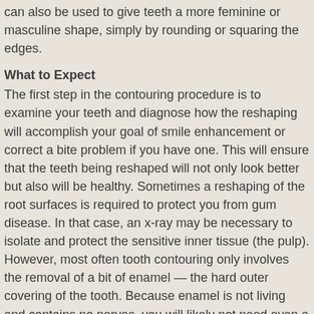can also be used to give teeth a more feminine or masculine shape, simply by rounding or squaring the edges.
What to Expect
The first step in the contouring procedure is to examine your teeth and diagnose how the reshaping will accomplish your goal of smile enhancement or correct a bite problem if you have one. This will ensure that the teeth being reshaped will not only look better but also will be healthy. Sometimes a reshaping of the root surfaces is required to protect you from gum disease. In that case, an x-ray may be necessary to isolate and protect the sensitive inner tissue (the pulp). However, most often tooth contouring only involves the removal of a bit of enamel — the hard outer covering of the tooth. Because enamel is not living and contains no nerves, you will likely not need even a local anesthetic.
You will probably feel some vibration as your tooth is gently sculpted, and then polished smooth. Reshaping one tooth usually takes less than half an hour — and the results will be obvious as soon as you look in the mirror! Sometimes reshaped teeth can be a little sensitive to hot or cold after the procedure, but this should last no more than a day or two.